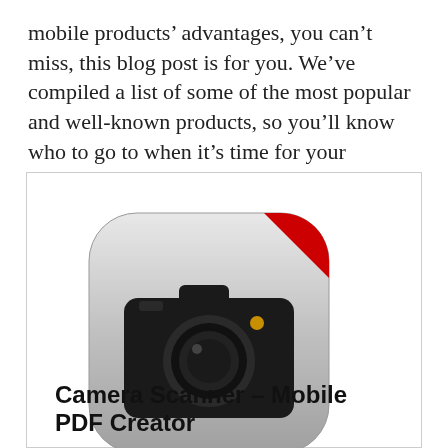mobile products' advantages, you can't miss, this blog post is for you. We've compiled a list of some of the most popular and well-known products, so you'll know who to go to when it's time for your purchase.
[Figure (illustration): Camera app icon with a metallic rounded-square background showing a black camera silhouette. A red diagonal 'BEST' banner is in the top-right corner.]
Camera Scanner – Mobile PDF Creator